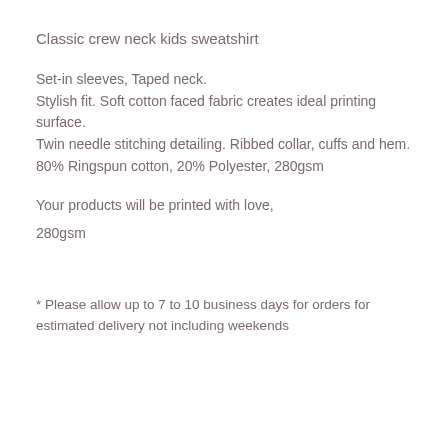Classic crew neck kids sweatshirt
Set-in sleeves, Taped neck.
Stylish fit. Soft cotton faced fabric creates ideal printing surface.
Twin needle stitching detailing. Ribbed collar, cuffs and hem.
80% Ringspun cotton, 20% Polyester, 280gsm
Your products will be printed with love,
280gsm
* Please allow up to 7 to 10 business days for orders for estimated delivery not including weekends